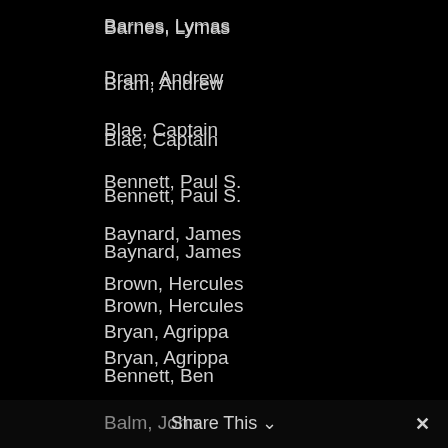Barnes, Lymas
Bram, Andrew
Blae, Captain
Bennett, Paul S.
Baynard, James
Brown, Hercules
Bryan, Agrippa
Bennett, Ben
Bythewood, James
Brown, George
Black, William
Balm, John
Share This ∨  ✕